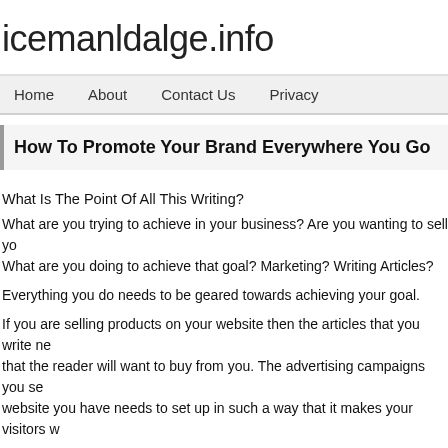icemanldalge.info
Home   About   Contact Us   Privacy
How To Promote Your Brand Everywhere You Go
What Is The Point Of All This Writing?
What are you trying to achieve in your business? Are you wanting to sell yo... What are you doing to achieve that goal? Marketing? Writing Articles?
Everything you do needs to be geared towards achieving your goal.
If you are selling products on your website then the articles that you write ne... that the reader will want to buy from you. The advertising campaigns you se... website you have needs to set up in such a way that it makes your visitors w...
It boils down to everything that you do on-line.